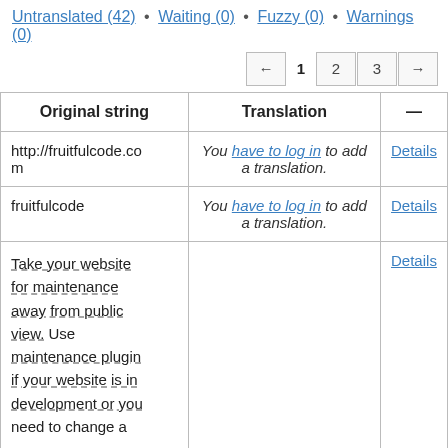Untranslated (42) • Waiting (0) • Fuzzy (0) • Warnings (0)
← 1 2 3 →
| Original string | Translation | — |
| --- | --- | --- |
| http://fruitfulcode.com | You have to log in to add a translation. | Details |
| fruitfulcode | You have to log in to add a translation. | Details |
| Take your website for maintenance away from public view. Use maintenance plugin if your website is in development or you need to change a |  | Details |